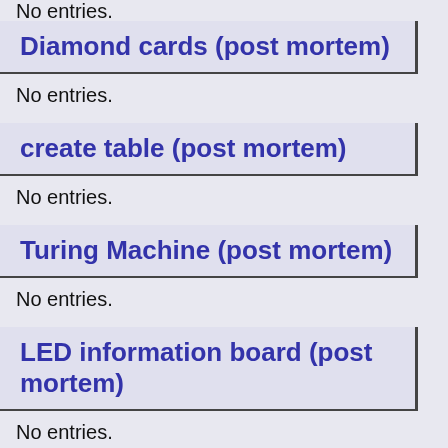No entries.
Diamond cards (post mortem)
No entries.
create table (post mortem)
No entries.
Turing Machine (post mortem)
No entries.
LED information board (post mortem)
No entries.